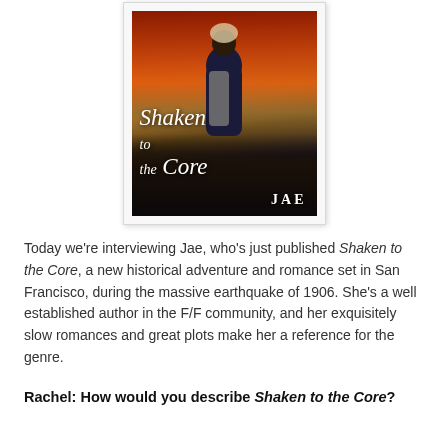[Figure (photo): Book cover of 'Shaken to the Core' by Jae, showing a woman in period clothing against a dramatic orange and dark sky background]
Today we're interviewing Jae, who's just published Shaken to the Core, a new historical adventure and romance set in San Francisco, during the massive earthquake of 1906. She's a well established author in the F/F community, and her exquisitely slow romances and great plots make her a reference for the genre.
Rachel: How would you describe Shaken to the Core?